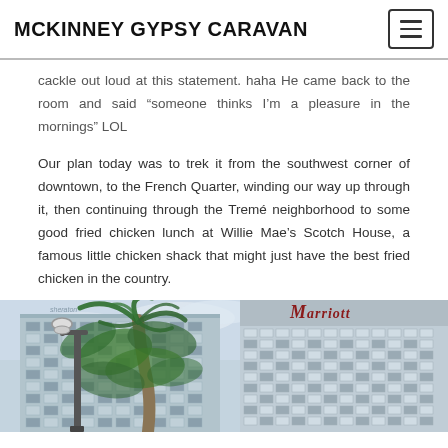MCKINNEY GYPSY CARAVAN
cackle out loud at this statement. haha He came back to the room and said “someone thinks I’m a pleasure in the mornings” LOL
Our plan today was to trek it from the southwest corner of downtown, to the French Quarter, winding our way up through it, then continuing through the Tremé neighborhood to some good fried chicken lunch at Willie Mae’s Scotch House, a famous little chicken shack that might just have the best fried chicken in the country.
[Figure (photo): Street scene showing a lamp post and palm tree in the foreground, with the Sheraton hotel building on the left and the Marriott hotel building on the right, under a cloudy sky.]